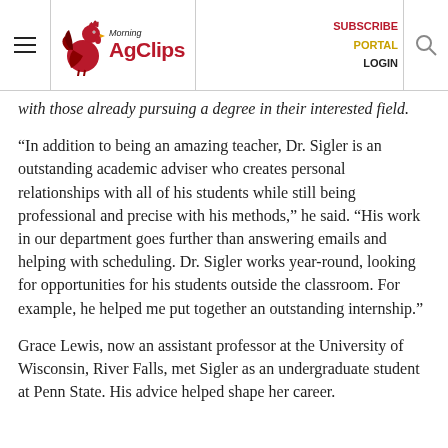Morning AgClips — SUBSCRIBE PORTAL LOGIN
with those already pursuing a degree in their interested field.
“In addition to being an amazing teacher, Dr. Sigler is an outstanding academic adviser who creates personal relationships with all of his students while still being professional and precise with his methods,” he said. “His work in our department goes further than answering emails and helping with scheduling. Dr. Sigler works year-round, looking for opportunities for his students outside the classroom. For example, he helped me put together an outstanding internship.”
Grace Lewis, now an assistant professor at the University of Wisconsin, River Falls, met Sigler as an undergraduate student at Penn State. His advice helped shape her career.